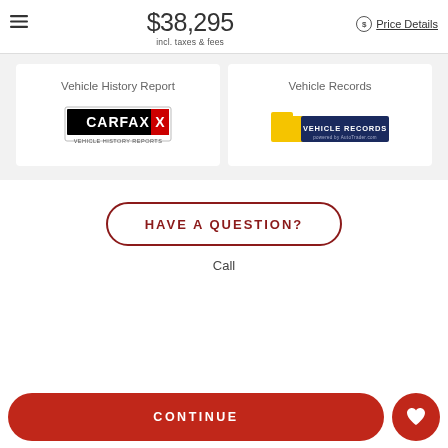$38,295 incl. taxes & fees | Price Details
Vehicle History Report
[Figure (logo): CARFAX Vehicle History Reports logo]
Vehicle Records
[Figure (logo): Vehicle Records powered by AutoTrader.com logo]
HAVE A QUESTION?
Call
CONTINUE